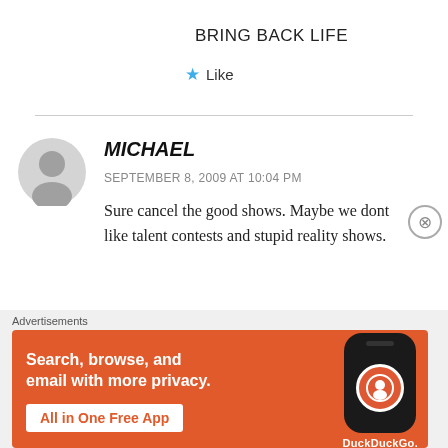BRING BACK LIFE
★ Like
MICHAEL
SEPTEMBER 8, 2009 AT 10:04 PM
Sure cancel the good shows. Maybe we dont like talent contests and stupid reality shows.
[Figure (infographic): DuckDuckGo advertisement banner. Orange background. Text: 'Search, browse, and email with more privacy. All in One Free App'. Shows a smartphone with the DuckDuckGo duck logo.]